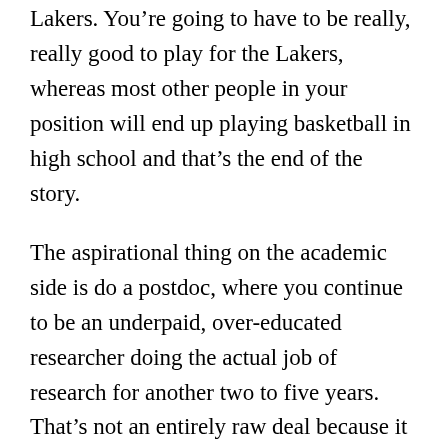Lakers. You're going to have to be really, really good to play for the Lakers, whereas most other people in your position will end up playing basketball in high school and that's the end of the story.
The aspirational thing on the academic side is do a postdoc, where you continue to be an underpaid, over-educated researcher doing the actual job of research for another two to five years. That's not an entirely raw deal because it comes with a lot of freedom. But beyond that, academia is a really tough row to hoe. You're